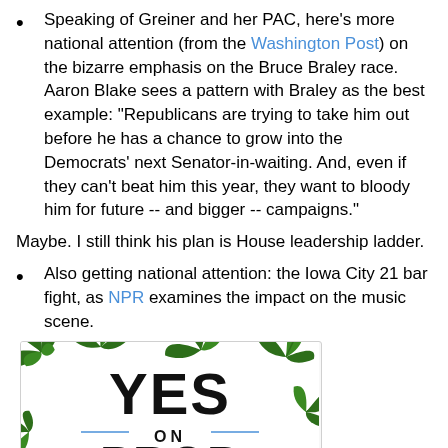Speaking of Greiner and her PAC, here's more national attention (from the Washington Post) on the bizarre emphasis on the Bruce Braley race. Aaron Blake sees a pattern with Braley as the best example: "Republicans are trying to take him out before he has a chance to grow into the Democrats' next Senator-in-waiting. And, even if they can't beat him this year, they want to bloody him for future -- and bigger -- campaigns."
Maybe. I still think his plan is House leadership ladder.
Also getting national attention: the Iowa City 21 bar fight, as NPR examines the impact on the music scene.
[Figure (illustration): A 'YES on PROP 19' campaign graphic with large bold text on a white background surrounded by cannabis/marijuana leaves in green. The number 19 has a cannabis leaf replacing the letter O in PROP.]